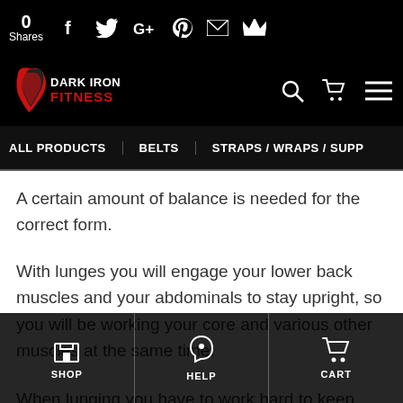0 Shares — social share bar with Facebook, Twitter, Google+, Pinterest, Email, Crown icons
[Figure (logo): Dark Iron Fitness logo — Spartan helmet in red with white and red text on black background]
ALL PRODUCTS   BELTS   STRAPS / WRAPS / SUPP
A certain amount of balance is needed for the correct form.
With lunges you will engage your lower back muscles and your abdominals to stay upright, so you will be working your core and various other muscles at the same time.
When lunging you have to work hard to keep
SHOP   HELP   CART